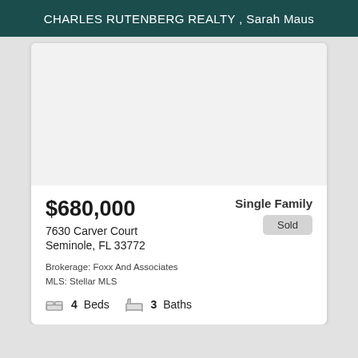CHARLES RUTENBERG REALTY , Sarah Maus
[Figure (photo): Property photo area (blank/white in this view)]
$680,000
Single Family
Sold
7630 Carver Court
Seminole, FL 33772
Brokerage: Foxx And Associates
MLS: Stellar MLS
4 Beds   3 Baths